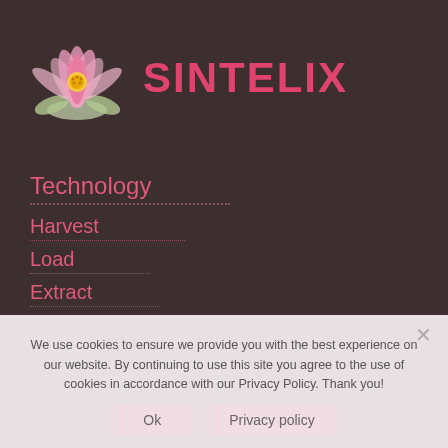[Figure (logo): Sintelix logo: pink lotus flower SVG illustration next to bold pink text 'SINTELIX' on dark brown background]
Technology
Harvest
Load
Extract
We use cookies to ensure we provide you with the best experience on our website. By continuing to use this site you agree to the use of cookies in accordance with our Privacy Policy. Thank you!
Ok   Privacy policy